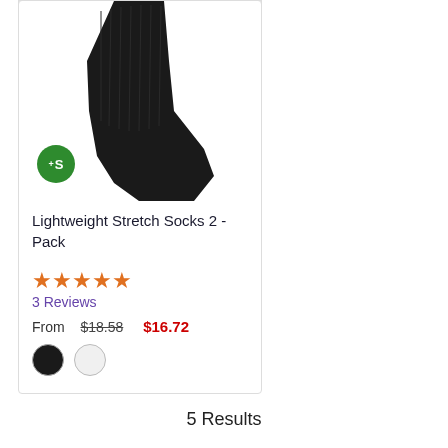[Figure (photo): Black compression/stretch sock worn on a leg, shown from knee down against white background, with a green circular badge showing '+S' in the lower left corner of the image]
Lightweight Stretch Socks 2 - Pack
[Figure (other): 4 filled orange stars rating display]
3 Reviews
From  $18.58  $16.72
[Figure (other): Two color swatches: black circle and light gray/white circle]
5 Results